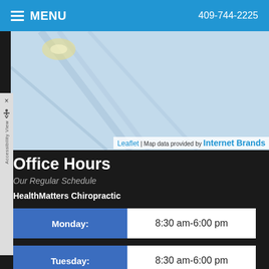MENU   409-744-2225
[Figure (map): Leaflet map with blue sky/building background. Attribution: Leaflet | Map data provided by Internet Brands]
Leaflet | Map data provided by Internet Brands
Office Hours
Our Regular Schedule
HealthMatters Chiropractic
| Day | Hours |
| --- | --- |
| Monday: | 8:30 am-6:00 pm |
| Tuesday: | 8:30 am-6:00 pm |
| Wednesday: | 8:30 am-6:00 pm |